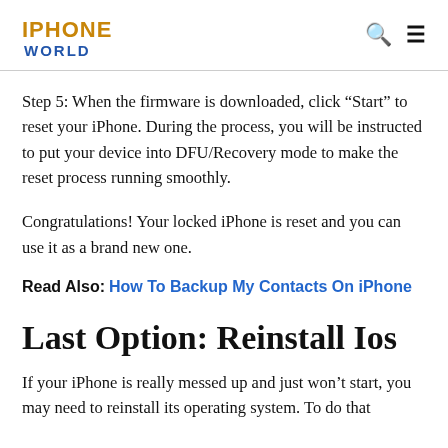IPHONE WORLD
Step 5: When the firmware is downloaded, click “Start” to reset your iPhone. During the process, you will be instructed to put your device into DFU/Recovery mode to make the reset process running smoothly.
Congratulations! Your locked iPhone is reset and you can use it as a brand new one.
Read Also: How To Backup My Contacts On iPhone
Last Option: Reinstall Ios
If your iPhone is really messed up and just won’t start, you may need to reinstall its operating system. To do that